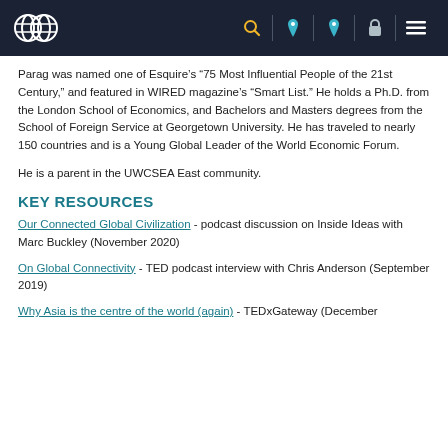UWCSEA website header with logo and navigation icons
Parag was named one of Esquire's “75 Most Influential People of the 21st Century,” and featured in WIRED magazine’s “Smart List.” He holds a Ph.D. from the London School of Economics, and Bachelors and Masters degrees from the School of Foreign Service at Georgetown University. He has traveled to nearly 150 countries and is a Young Global Leader of the World Economic Forum.
He is a parent in the UWCSEA East community.
KEY RESOURCES
Our Connected Global Civilization - podcast discussion on Inside Ideas with Marc Buckley (November 2020)
On Global Connectivity - TED podcast interview with Chris Anderson (September 2019)
Why Asia is the centre of the world (again) - TEDxGateway (December